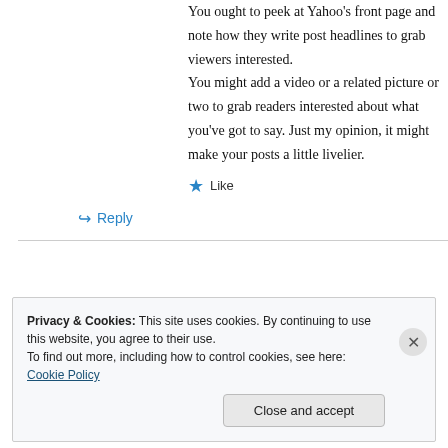You ought to peek at Yahoo's front page and note how they write post headlines to grab viewers interested. You might add a video or a related picture or two to grab readers interested about what you've got to say. Just my opinion, it might make your posts a little livelier.
★ Like
↪ Reply
Privacy & Cookies: This site uses cookies. By continuing to use this website, you agree to their use. To find out more, including how to control cookies, see here: Cookie Policy
Close and accept